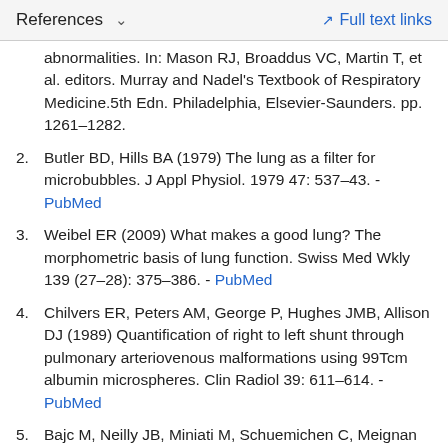References  ∨    Full text links
abnormalities. In: Mason RJ, Broaddus VC, Martin T, et al. editors. Murray and Nadel's Textbook of Respiratory Medicine.5th Edn. Philadelphia, Elsevier-Saunders. pp. 1261–1282.
2. Butler BD, Hills BA (1979) The lung as a filter for microbubbles. J Appl Physiol. 1979 47: 537–43. - PubMed
3. Weibel ER (2009) What makes a good lung? The morphometric basis of lung function. Swiss Med Wkly 139 (27–28): 375–386. - PubMed
4. Chilvers ER, Peters AM, George P, Hughes JMB, Allison DJ (1989) Quantification of right to left shunt through pulmonary arteriovenous malformations using 99Tcm albumin microspheres. Clin Radiol 39: 611–614. - PubMed
5. Bajc M, Neilly JB, Miniati M, Schuemichen C, Meignan M, et al. (2009) EANM guidelines for